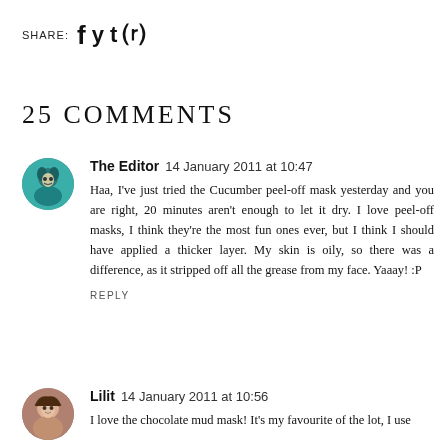SHARE: f y t p
25 COMMENTS
The Editor  14 January 2011 at 10:47
Haa, I've just tried the Cucumber peel-off mask yesterday and you are right, 20 minutes aren't enough to let it dry. I love peel-off masks, I think they're the most fun ones ever, but I think I should have applied a thicker layer. My skin is oily, so there was a difference, as it stripped off all the grease from my face. Yaaay! :P
REPLY
Lilit  14 January 2011 at 10:56
I love the chocolate mud mask! It's my favourite of the lot, I use